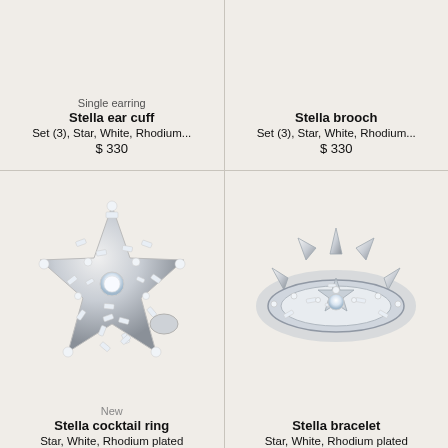Single earring
Stella ear cuff
Set (3), Star, White, Rhodium...
$ 330
Stella brooch
Set (3), Star, White, Rhodium...
$ 330
[Figure (photo): Diamond star-shaped cocktail ring with baguette and round diamonds in rhodium plated setting]
New
Stella cocktail ring
Star, White, Rhodium plated
[Figure (photo): Diamond star-shaped bracelet/bangle with baguette diamonds in rhodium plated open setting]
Stella bracelet
Star, White, Rhodium plated